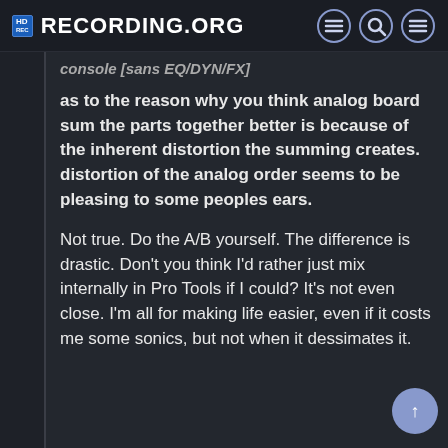RECORDING.ORG
console [sans EQ/DYN/FX]
as to the reason why you think analog board sum the parts together better is because of the inherent distortion the summing creates. distortion of the analog order seems to be pleasing to some peoples ears.
Not true. Do the A/B yourself. The difference is drastic. Don't you think I'd rather just mix internally in Pro Tools if I could? It's not even close. I'm all for making life easier, even if it costs me some sonics, but not when it dessimates it.